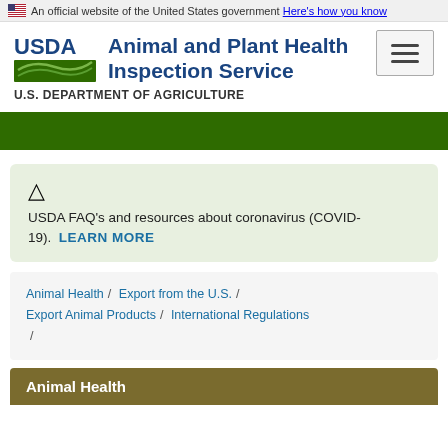An official website of the United States government Here's how you know
[Figure (logo): USDA Animal and Plant Health Inspection Service logo with green field graphic]
Animal and Plant Health Inspection Service
U.S. DEPARTMENT OF AGRICULTURE
USDA FAQ's and resources about coronavirus (COVID-19). LEARN MORE
Animal Health / Export from the U.S. / Export Animal Products / International Regulations /
Animal Health